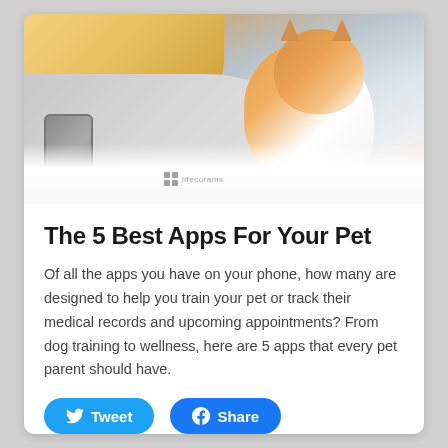[Figure (photo): A smiling woman with blonde hair holding a smartphone and cradling an orange and white cat, lying on white bedding. A watermark logo is visible at the bottom center of the image.]
The 5 Best Apps For Your Pet
Of all the apps you have on your phone, how many are designed to help you train your pet or track their medical records and upcoming appointments? From dog training to wellness, here are 5 apps that every pet parent should have.